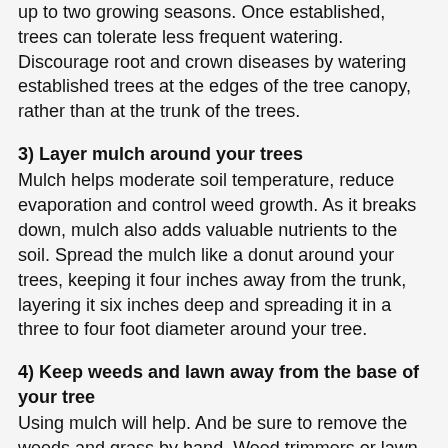up to two growing seasons. Once established, trees can tolerate less frequent watering. Discourage root and crown diseases by watering established trees at the edges of the tree canopy, rather than at the trunk of the trees.
3) Layer mulch around your trees
Mulch helps moderate soil temperature, reduce evaporation and control weed growth. As it breaks down, mulch also adds valuable nutrients to the soil. Spread the mulch like a donut around your trees, keeping it four inches away from the trunk, layering it six inches deep and spreading it in a three to four foot diameter around your tree.
4) Keep weeds and lawn away from the base of your tree
Using mulch will help. And be sure to remove the weeds and grass by hand. Weed trimmers or lawn mowers can injure the bark of your trees.
Watered correctly, trees can be one of the most water-